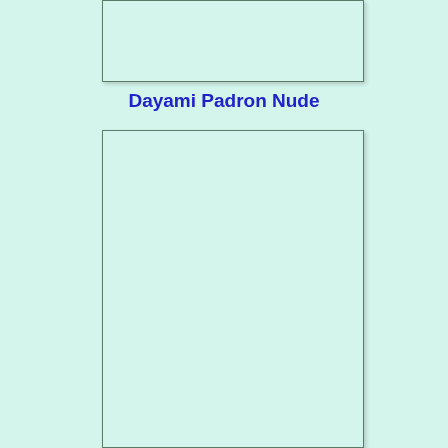[Figure (other): Empty image placeholder box at top]
Dayami Padron Nude
[Figure (other): Empty image placeholder box at bottom]